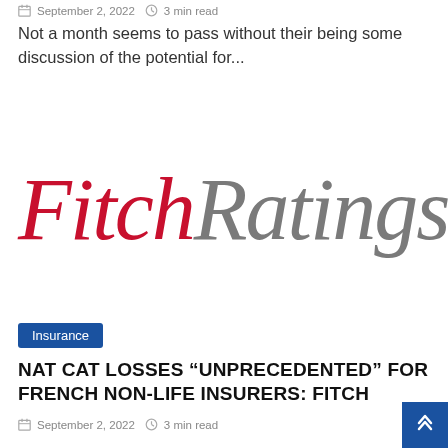September 2, 2022  3 min read
Not a month seems to pass without their being some discussion of the potential for...
[Figure (logo): Fitch Ratings logo in red and gray serif italic font]
Insurance
NAT CAT LOSSES “UNPRECEDENTED” FOR FRENCH NON-LIFE INSURERS: FITCH
September 2, 2022  3 min read